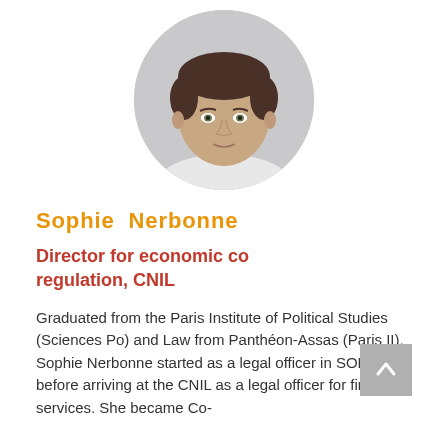[Figure (photo): Circular portrait photo of Sophie Nerbonne, a woman with short brown hair, against a light gray background]
Sophie Nerbonne
Director for economic co regulation, CNIL
Graduated from the Paris Institute of Political Studies (Sciences Po) and Law from Panthéon-Assas (Paris II), Sophie Nerbonne started as a legal officer in SODEXHO before arriving at the CNIL as a legal officer for financial services. She became Co-